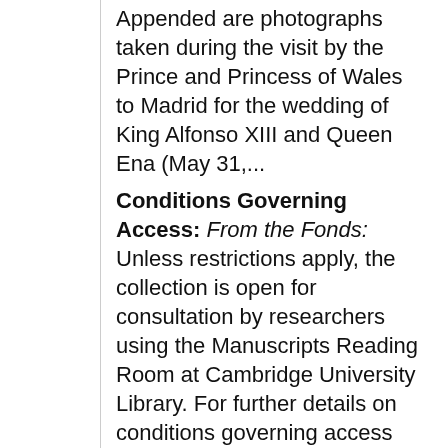Appended are photographs taken during the visit by the Prince and Princess of Wales to Madrid for the wedding of King Alfonso XIII and Queen Ena (May 31,...
Conditions Governing Access: From the Fonds: Unless restrictions apply, the collection is open for consultation by researchers using the Manuscripts Reading Room at Cambridge University Library. For further details on conditions governing access please contact mss@lib.cam.ac.uk. Information about opening hours and